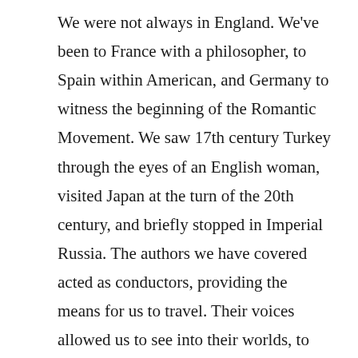We were not always in England. We've been to France with a philosopher, to Spain within American, and Germany to witness the beginning of the Romantic Movement. We saw 17th century Turkey through the eyes of an English woman, visited Japan at the turn of the 20th century, and briefly stopped in Imperial Russia. The authors we have covered acted as conductors, providing the means for us to travel. Their voices allowed us to see into their worlds, to spend time in their society, to have a momentary glimpse of a fixed point in time. We have seen revolutions, oppression, and inequality in many of the places we have visited, but always, the voices of those authors who have guided us cried out for equality, rallied for peace, and asked us to question, alongside them, our purpose within our